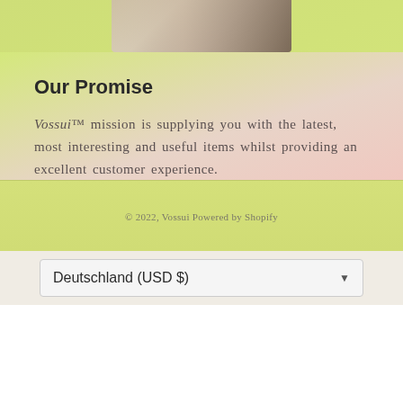[Figure (photo): Partial photo of a person in a white blazer working on a laptop, cropped at top of page]
Our Promise
Vossui™ mission is supplying you with the latest, most interesting and useful items whilst providing an excellent customer experience.
© 2022, Vossui Powered by Shopify
Deutschland (USD $)